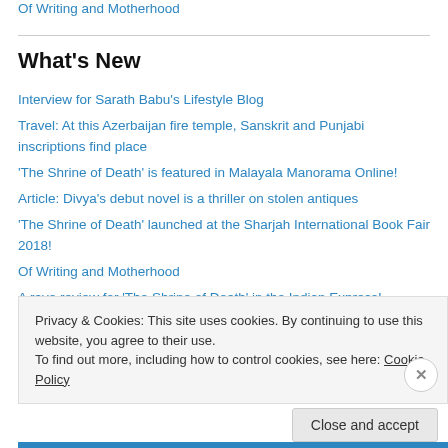Of Writing and Motherhood
What's New
Interview for Sarath Babu's Lifestyle Blog
Travel: At this Azerbaijan fire temple, Sanskrit and Punjabi inscriptions find place
'The Shrine of Death' is featured in Malayala Manorama Online!
Article: Divya's debut novel is a thriller on stolen antiques
'The Shrine of Death' launched at the Sharjah International Book Fair 2018!
Of Writing and Motherhood
A rave review for 'The Shrine of Death' in the Indian Express!
Privacy & Cookies: This site uses cookies. By continuing to use this website, you agree to their use.
To find out more, including how to control cookies, see here: Cookie Policy
Close and accept